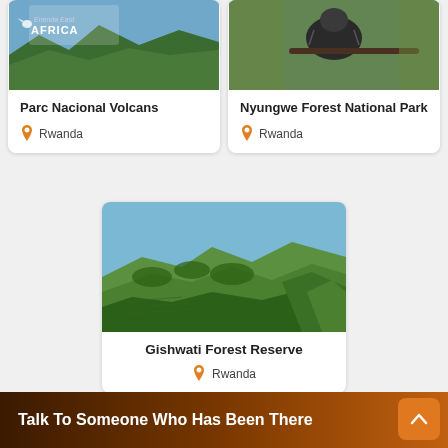[Figure (photo): Parc Nacional Volcans aerial/landscape photo with Enenda East Africa logo overlay]
Parc Nacional Volcans
Rwanda
[Figure (photo): Nyungwe Forest National Park – close-up of wildlife (bird or primate) on a branch]
Nyungwe Forest National Park
Rwanda
[Figure (photo): Gishwati Forest Reserve – lush green rolling hills with forest and vegetation]
Gishwati Forest Reserve
Rwanda
Talk To Someone Who Has Been There